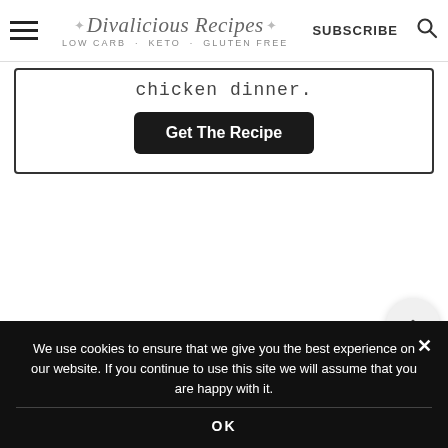Divalicious Recipes LOW CARB · KETO · GLUTEN FREE  SUBSCRIBE
chicken dinner.
Get The Recipe
113
We use cookies to ensure that we give you the best experience on our website. If you continue to use this site we will assume that you are happy with it.
OK